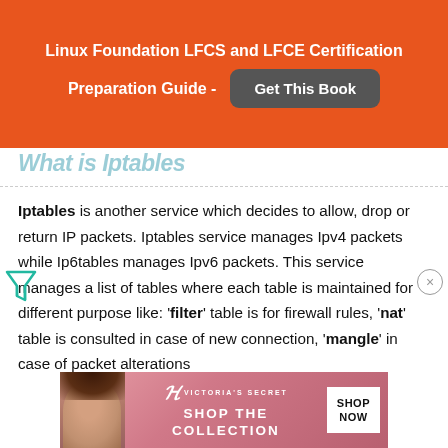Linux Foundation LFCS and LFCE Certification Preparation Guide - Get This Book
What is Iptables
Iptables is another service which decides to allow, drop or return IP packets. Iptables service manages Ipv4 packets while Ip6tables manages Ipv6 packets. This service manages a list of tables where each table is maintained for different purpose like: 'filter' table is for firewall rules, 'nat' table is consulted in case of new connection, 'mangle' in case of packet alterations
[Figure (photo): Victoria's Secret advertisement banner with model, VS logo, SHOP THE COLLECTION text and SHOP NOW button]